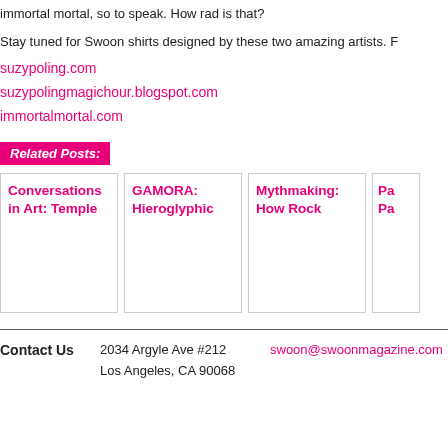immortal mortal, so to speak. How rad is that?
Stay tuned for Swoon shirts designed by these two amazing artists. F
suzypoling.com
suzypolingmagichour.blogspot.com
immortalmortal.com
Related Posts:
Conversations in Art: Temple
GAMORA: Hieroglyphic
Mythmaking: How Rock
Pa Pa
Contact Us  2034 Argyle Ave #212  Los Angeles, CA 90068  swoon@swoonmagazine.com